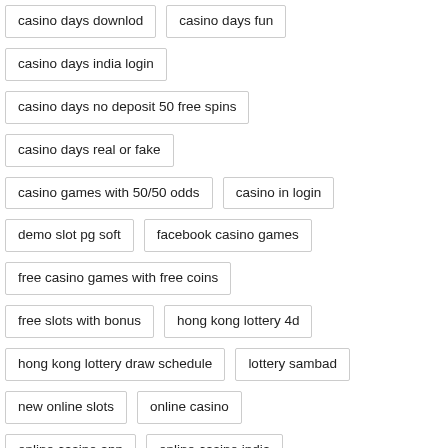casino days downlod
casino days fun
casino days india login
casino days no deposit 50 free spins
casino days real or fake
casino games with 50/50 odds
casino in login
demo slot pg soft
facebook casino games
free casino games with free coins
free slots with bonus
hong kong lottery 4d
hong kong lottery draw schedule
lottery sambad
new online slots
online casino
online casino app
online casino india
online gambling app
pengeluaran ph